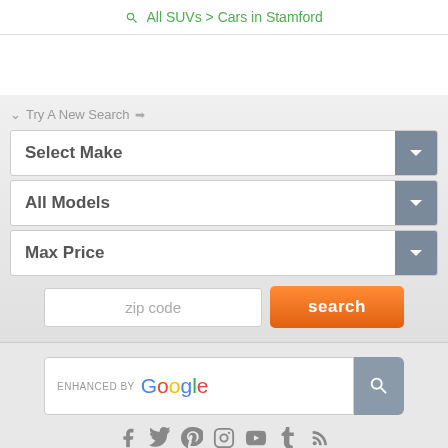🔍 All SUVs > Cars in Stamford
↓ Try A New Search →
Select Make
All Models
Max Price
zip code
search
ENHANCED BY Google
Social icons: Facebook, Twitter, Pinterest, Instagram, YouTube, Tumblr, RSS
Android App · Sitemap · About · FAQ · Privacy · Contact
Copyright © 2007-2022. Autopten.com. All Rights Reserved.